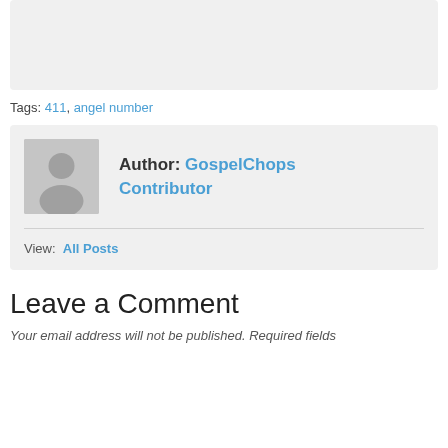[Figure (other): Grey placeholder image area at top of page]
Tags: 411, angel number
Author: GospelChops Contributor
View: All Posts
Leave a Comment
Your email address will not be published. Required fields